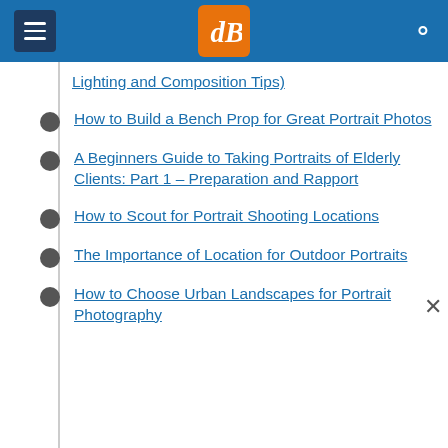dPS navigation header
Lighting and Composition Tips)
How to Build a Bench Prop for Great Portrait Photos
A Beginners Guide to Taking Portraits of Elderly Clients: Part 1 – Preparation and Rapport
How to Scout for Portrait Shooting Locations
The Importance of Location for Outdoor Portraits
How to Choose Urban Landscapes for Portrait Photography